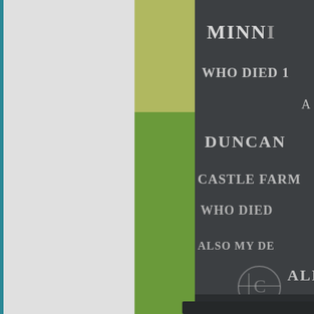[Figure (photo): A close-up photograph of a dark granite gravestone with white engraved text, partially cropped. The visible text reads: 'MINN...' / 'WHO DIED 1...' / 'A...' / 'DUNCAN' / 'CASTLE FARM...' / 'WHO DIED...' / 'ALSO MY DE...' / 'ALI...' / 'KILLED...' / '5TH JU...' / 'DU...' / 'WHO DIED...'. A stock photo watermark is visible over the stone. The left side shows a white/grey background area, and in the middle is green grass, with the gravestone on the right half.]